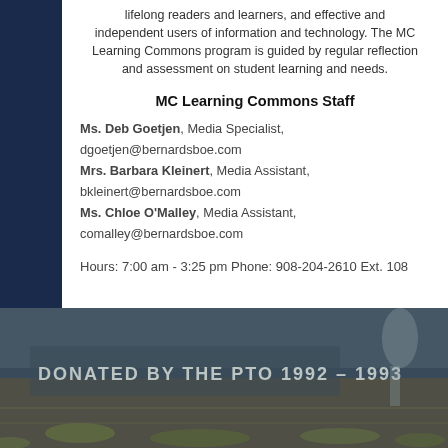lifelong readers and learners, and effective and independent users of information and technology. The MC Learning Commons program is guided by regular reflection and assessment on student learning and needs.
MC Learning Commons Staff
Ms. Deb Goetjen, Media Specialist, dgoetjen@bernardsboe.com
Mrs. Barbara Kleinert, Media Assistant, bkleinert@bernardsboe.com
Ms. Chloe O'Malley, Media Assistant, comalley@bernardsboe.com
Hours: 7:00 am - 3:25 pm Phone: 908-204-2610 Ext. 108
[Figure (photo): Stone or plaque engraving reading 'DONATED BY THE PTO 1992 – 1993' with figures and outdoor scenery in background]